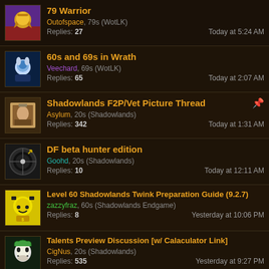79 Warrior | Outofspace, 79s (WotLK) | Replies: 27 | Today at 5:24 AM
60s and 69s in Wrath | Veechard, 69s (WotLK) | Replies: 65 | Today at 2:07 AM
Shadowlands F2P/Vet Picture Thread [pinned] | Asylum, 20s (Shadowlands) | Replies: 342 | Today at 1:31 AM
DF beta hunter edition | Goohd, 20s (Shadowlands) | Replies: 10 | Today at 12:11 AM
Level 60 Shadowlands Twink Preparation Guide (9.2.7) | zazzyfraz, 60s (Shadowlands Endgame) | Replies: 8 | Yesterday at 10:06 PM
Talents Preview Discussion [w/ Calaculator Link] | CigNus, 20s (Shadowlands) | Replies: 535 | Yesterday at 9:27 PM
10.0 Predictions/Discussion